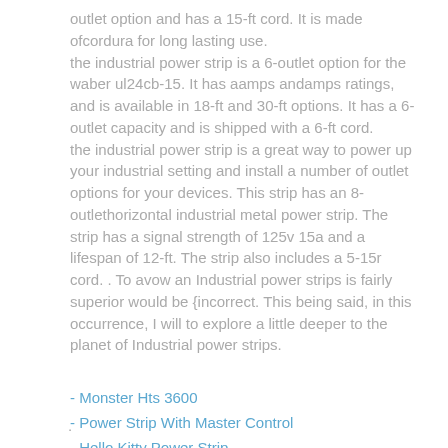outlet option and has a 15-ft cord. It is made ofcordura for long lasting use.
the industrial power strip is a 6-outlet option for the waber ul24cb-15. It has aamps andamps ratings, and is available in 18-ft and 30-ft options. It has a 6-outlet capacity and is shipped with a 6-ft cord.
the industrial power strip is a great way to power up your industrial setting and install a number of outlet options for your devices. This strip has an 8-outlethorizontal industrial metal power strip. The strip has a signal strength of 125v 15a and a lifespan of 12-ft. The strip also includes a 5-15r cord. . To avow an Industrial power strips is fairly superior would be {incorrect. This being said, in this occurrence, I will to explore a little deeper to the planet of Industrial power strips.
- Monster Hts 3600
- Power Strip With Master Control
- Hello Kitty Power Strip
.